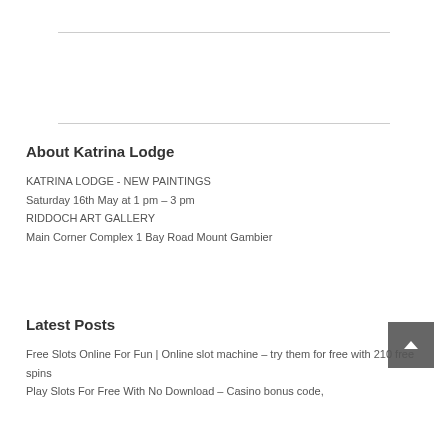About Katrina Lodge
KATRINA LODGE - NEW PAINTINGS
Saturday 16th May at 1 pm – 3 pm
RIDDOCH ART GALLERY
Main Corner Complex 1 Bay Road Mount Gambier
Latest Posts
Free Slots Online For Fun | Online slot machine – try them for free with 210 free spins
Play Slots For Free With No Download – Casino bonus code,